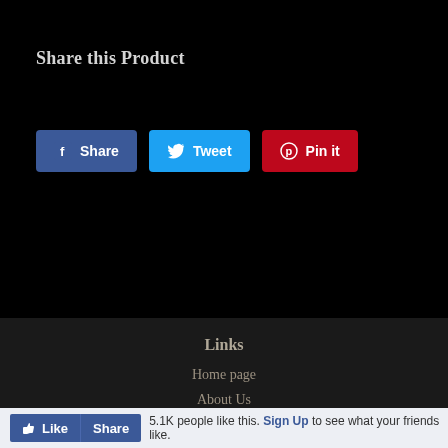Share this Product
[Figure (screenshot): Three social sharing buttons: Facebook Share (blue), Twitter Tweet (cyan), Pinterest Pin it (red)]
Links
Home page
About Us
Contact Us
Follow Us
[Figure (screenshot): Four social media icons: Twitter bird, Facebook f, Pinterest p, Instagram camera]
[Figure (screenshot): Facebook Like and Share buttons bar with text: 5.1K people like this. Sign Up to see what your friends like.]